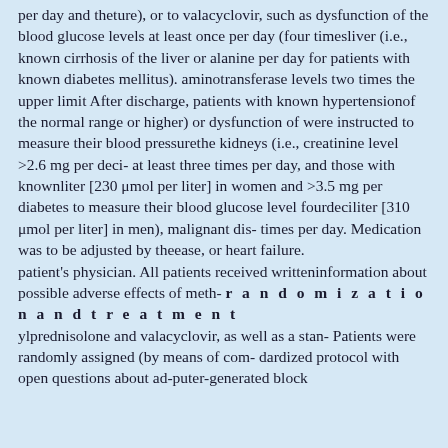per day and theture), or to valacyclovir, such as dysfunction of the blood glucose levels at least once per day (four timesliver (i.e., known cirrhosis of the liver or alanine per day for patients with known diabetes mellitus). aminotransferase levels two times the upper limit After discharge, patients with known hypertensionof the normal range or higher) or dysfunction of were instructed to measure their blood pressurethe kidneys (i.e., creatinine level >2.6 mg per deci- at least three times per day, and those with knownliter [230 μmol per liter] in women and >3.5 mg per diabetes to measure their blood glucose level fourdeciliter [310 μmol per liter] in men), malignant dis- times per day. Medication was to be adjusted by theease, or heart failure. patient's physician. All patients received writteninformation about possible adverse effects of meth- r a n d o m i z a t i o n a n d t r e a t m e n t ylprednisolone and valacyclovir, as well as a stan- Patients were randomly assigned (by means of com- dardized protocol with open questions about ad-puter-generated block